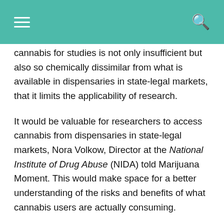cannabis for studies is not only insufficient but also so chemically dissimilar from what is available in dispensaries in state-legal markets, that it limits the applicability of research.
It would be valuable for researchers to access cannabis from dispensaries in state-legal markets, Nora Volkow, Director at the National Institute of Drug Abuse (NIDA) told Marijuana Moment. This would make space for a better understanding of the risks and benefits of what cannabis users are actually consuming.
In November, President Joe Biden signed a bill which contained provisions aimed at providing researchers with access to cannabis from dispensaries. In the interim, the DEA's authorization of additional manufacturers will be